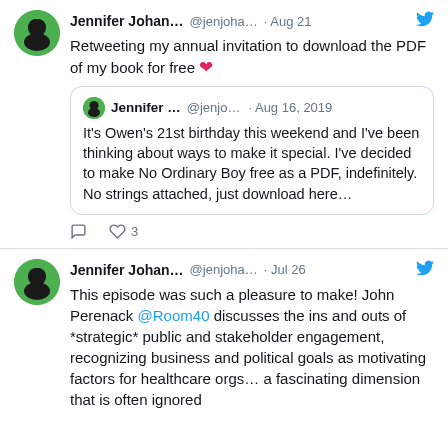[Figure (screenshot): Tweet by Jennifer Johan... @jenjoha... Aug 21 — Retweeting my annual invitation to download the PDF of my book for free ❤️. Contains a quoted tweet by Jennifer ... @jenjo... Aug 16, 2019: It's Owen's 21st birthday this weekend and I've been thinking about ways to make it special. I've decided to make No Ordinary Boy free as a PDF, indefinitely. No strings attached, just download here...]
[Figure (screenshot): Tweet by Jennifer Johan... @jenjoha... Jul 26 — This episode was such a pleasure to make! John Perenack @Room40 discusses the ins and outs of *strategic* public and stakeholder engagement, recognizing business and political goals as motivating factors for healthcare orgs... a fascinating dimension that is often ignored]